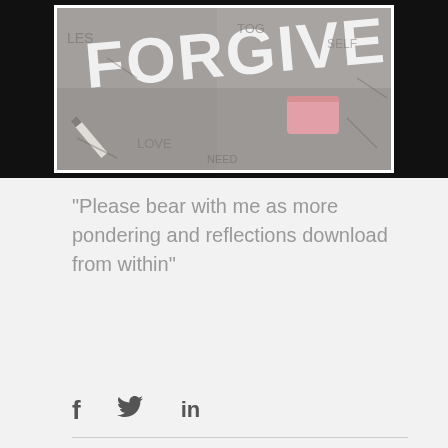[Figure (photo): Black and white photograph of chalk/pencil writing with words including 'FORGIVE' on a textured surface, with a pink eraser visible in the right portion of the image. The image has a white border and black mat background.]
“Please bear with me as more pondering and reflections download from within”
[Figure (other): Social media sharing icons: Facebook (f), Twitter (bird), LinkedIn (in)]